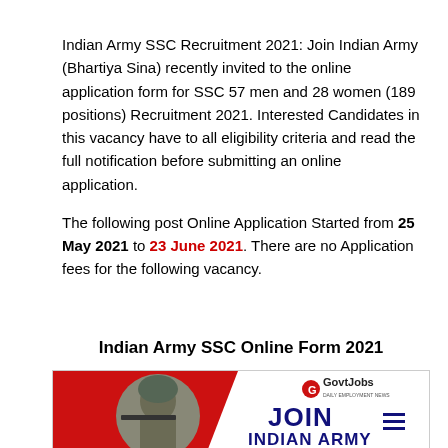Indian Army SSC Recruitment 2021: Join Indian Army (Bhartiya Sina) recently invited to the online application form for SSC 57 men and 28 women (189 positions) Recruitment 2021. Interested Candidates in this vacancy have to all eligibility criteria and read the full notification before submitting an online application.
The following post Online Application Started from 25 May 2021 to 23 June 2021. There are no Application fees for the following vacancy.
Indian Army SSC Online Form 2021
[Figure (illustration): Promotional banner for Indian Army recruitment showing a soldier with camouflage helmet aiming a rifle, red background with GovtJobs logo and text JOIN INDIAN ARMY]